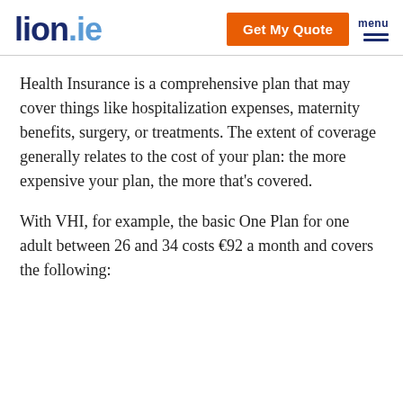lion.ie — Get My Quote — menu
Health Insurance is a comprehensive plan that may cover things like hospitalization expenses, maternity benefits, surgery, or treatments. The extent of coverage generally relates to the cost of your plan: the more expensive your plan, the more that's covered.
With VHI, for example, the basic One Plan for one adult between 26 and 34 costs €92 a month and covers the following: